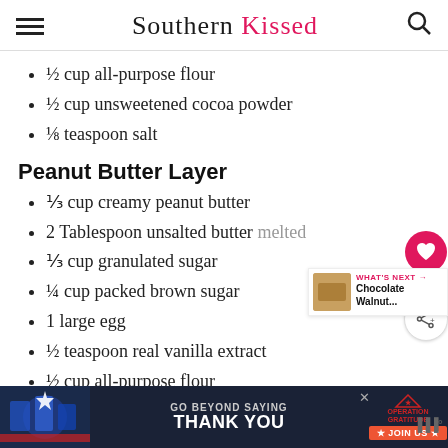Southern Kissed
½ cup all-purpose flour
½ cup unsweetened cocoa powder
⅛ teaspoon salt
Peanut Butter Layer
⅓ cup creamy peanut butter
2 Tablespoon unsalted butter melted
⅓ cup granulated sugar
¼ cup packed brown sugar
1 large egg
½ teaspoon real vanilla extract
½ cup all-purpose flour
[Figure (other): Advertisement banner: GO BEYOND SAYING THANK YOU — Operation Gratitude JOIN US]
[Figure (other): What's Next promo: Chocolate Walnut...]